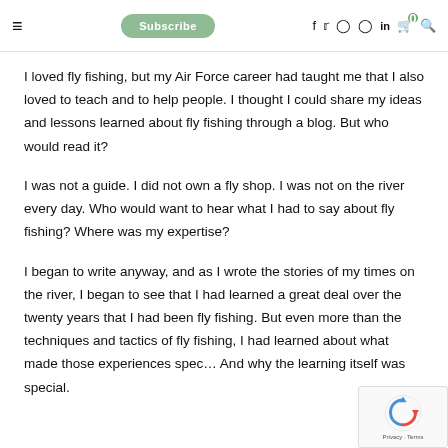≡  Subscribe  f  twitter  instagram  pinterest  in  cart(0)  search
I loved fly fishing, but my Air Force career had taught me that I also loved to teach and to help people.  I thought I could share my ideas and lessons learned about fly fishing through a blog. But who would read it?
I was not a guide. I did not own a fly shop. I was not on the river every day.  Who would want to hear what I had to say about fly fishing?  Where was my expertise?
I began to write anyway, and as I wrote the stories of my times on the river, I began to see that I had learned a great deal over the twenty years that I had been fly fishing. But even more than the techniques and tactics of fly fishing, I had learned about what made those experiences spec… And why the learning itself was special.